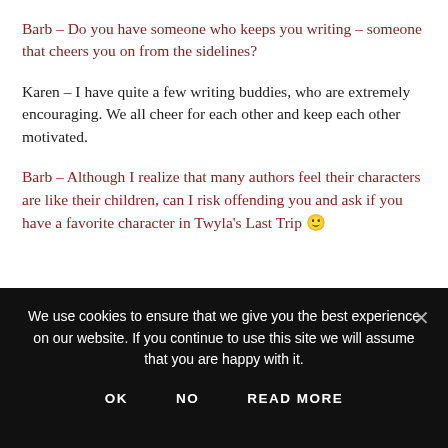Barb – Do you have someone who keeps you writing – someone that cheers you on from the sidelines?
Karen – I have quite a few writing buddies, who are extremely encouraging. We all cheer for each other and keep each other motivated.
Barb – Although I realize that many authors feel their characters are like their children, can I risk offending you and ask if you have a favorite character in Twyla's Last Trip 🙂
We use cookies to ensure that we give you the best experience on our website. If you continue to use this site we will assume that you are happy with it.
OK   NO   READ MORE